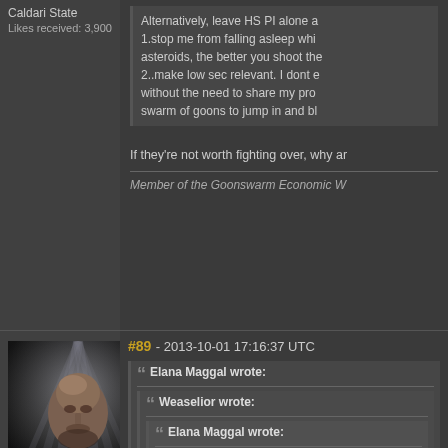Caldari State
Likes received: 3,900
Alternatively, leave HS PI alone a 1.stop me from falling asleep whi asteroids, the better you shoot the 2..make low sec relevant. I dont e without the need to share my pro swarm of goons to jump in and bl
If they're not worth fighting over, why ar
Member of the Goonswarm Economic W
#89 - 2013-10-01 17:16:37 UTC
Elana Maggal wrote:
Weaselior wrote:
Elana Maggal wrote:
So you pretty much hand c
[Figure (photo): Avatar portrait of forum user Dramaticus - bald man with dramatic lighting and dark background]
Dramaticus